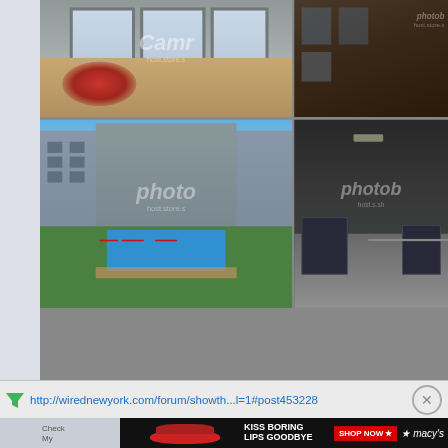[Figure (photo): Screenshot of a webpage showing a photo gallery with four images: top-left shows an interior room with wood floors and large windows; top-right shows a dark exterior building facade; bottom-left shows an aerial view of an apartment complex courtyard with pool and red umbrellas; bottom-right shows a gym or hallway interior. Photobucket watermarks are visible on images.]
http://wirednewyork.com/forum/showth...l=1#post453228
[Figure (photo): Advertisement banner: 'KISS BORING LIPS GOODBYE' with SHOP NOW button and Macy's logo, showing a woman's lips with red lipstick]